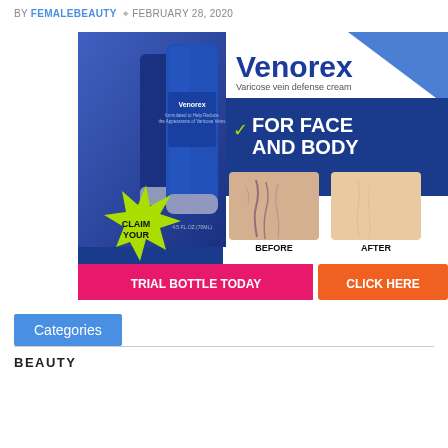BY FEMALEBEAUTY  Ø FEBRUARY 28, 2020
[Figure (photo): Venorex Varicose vein defense cream advertisement. Shows product tubes on left, brand name Venorex with tagline 'Varicose vein defense cream', checkmark with 'FOR FACE AND BODY', before/after photos of varicose veins on legs, 'CLAIM YOUR' starburst, pink banner 'TRIAL BOTTLE TODAY' and orange button 'CLICK HERE'.]
Categories
BEAUTY